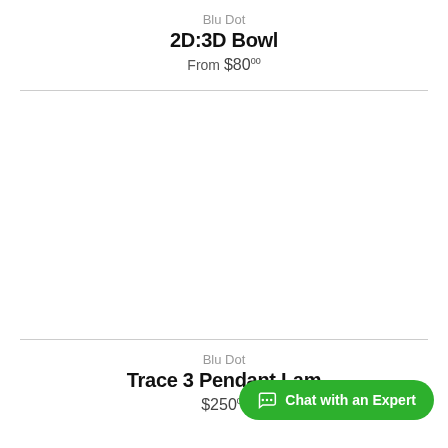Blu Dot
2D:3D Bowl
From $80.00
Blu Dot
Trace 3 Pendant Lamp
$250.00
Chat with an Expert